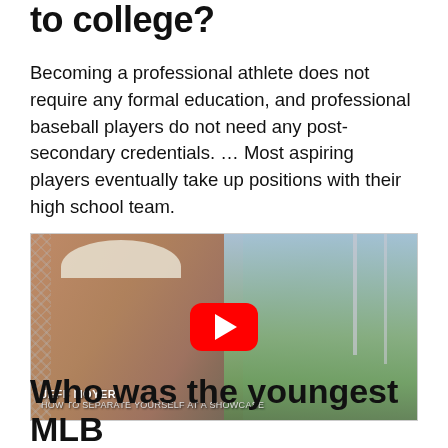to college?
Becoming a professional athlete does not require any formal education, and professional baseball players do not need any post-secondary credentials. … Most aspiring players eventually take up positions with their high school team.
[Figure (screenshot): YouTube video thumbnail showing a man wearing a white visor at a baseball field. Lower-third text reads 'JEFF MOYER' and 'HOW TO SEPARATE YOURSELF AT A SHOWCASE'. A red YouTube play button is overlaid in the center.]
Who was the youngest MLB